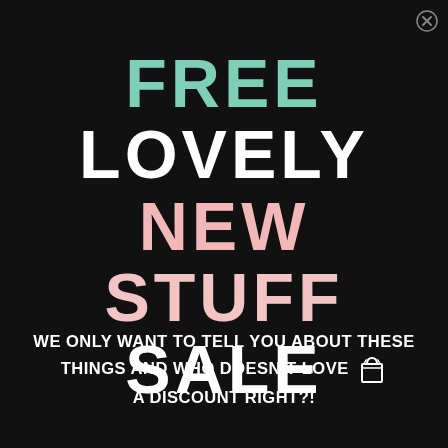[Figure (illustration): Close/X button in top right corner]
FREE LOVELY NEW STUFF SALE
WE ONLY WANT TO TELL YOU ABOUT THESE THINGS AND WHO DOESN'T LOVE A DISCOUNT RIGHT?!